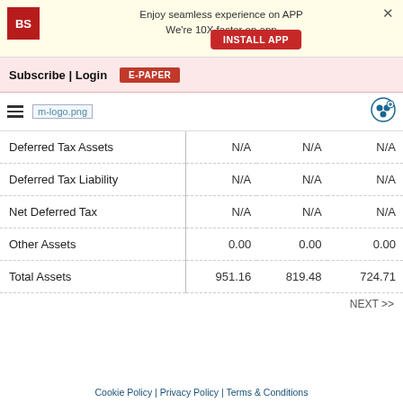[Figure (screenshot): App install banner with BS logo, text 'Enjoy seamless experience on APP We're 10X faster on app', INSTALL APP button, and X close button]
Subscribe | Login  E-PAPER
[Figure (logo): Hamburger menu icon and m-logo.png placeholder image with a person/add icon on the right]
|  |  |  |  |
| --- | --- | --- | --- |
| Deferred Tax Assets | N/A | N/A | N/A |
| Deferred Tax Liability | N/A | N/A | N/A |
| Net Deferred Tax | N/A | N/A | N/A |
| Other Assets | 0.00 | 0.00 | 0.00 |
| Total Assets | 951.16 | 819.48 | 724.71 |
NEXT >>
Cookie Policy | Privacy Policy | Terms & Conditions